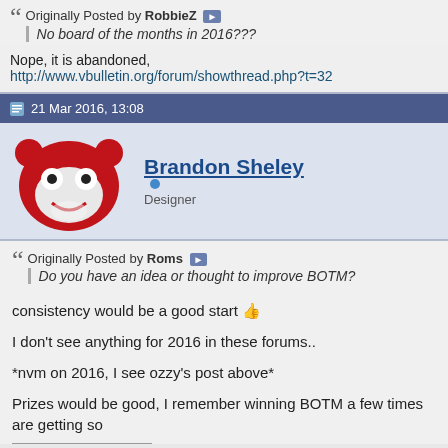Originally Posted by RobbieZ [arrow] No board of the months in 2016???
Nope, it is abandoned, http://www.vbulletin.org/forum/showthread.php?t=32
21 Mar 2016, 13:08
Brandon Sheley [online] Designer
Originally Posted by Roms [arrow] Do you have an idea or thought to improve BOTM?
consistency would be a good start 👍
I don't see anything for 2016 in these forums..
*nvm on 2016, I see ozzy's post above*
Prizes would be good, I remember winning BOTM a few times are getting so